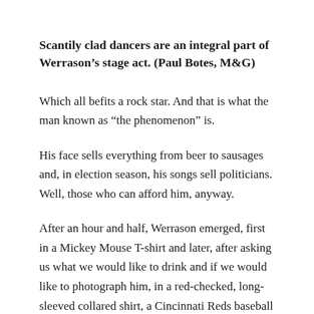Scantily clad dancers are an integral part of Werrason’s stage act. (Paul Botes, M&G)
Which all befits a rock star. And that is what the man known as “the phenomenon” is.
His face sells everything from beer to sausages and, in election season, his songs sell politicians. Well, those who can afford him, anyway.
After an hour and half, Werrason emerged, first in a Mickey Mouse T-shirt and later, after asking us what we would like to drink and if we would like to photograph him, in a red-checked, long-sleeved collared shirt, a Cincinnati Reds baseball cap with blue